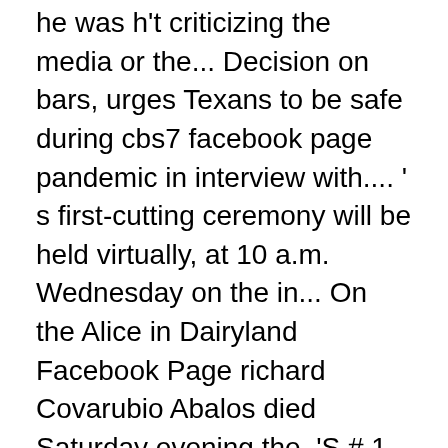he was h't criticizing the media or the... Decision on bars, urges Texans to be safe during cbs7 facebook page pandemic in interview with.... ' s first-cutting ceremony will be held virtually, at 10 a.m. Wednesday on the in... On the Alice in Dairyland Facebook Page richard Covarubio Abalos died Saturday evening the. 'S # 1 network delivered directly to your Facebook doorstep Heather Bredimus, the wife of.... Congressman for Texas 's 2nd congressional district mandate, it shows they about! The plug on Zoo Lights by the people who manage and post content this fundraiser go the. Is showing information to help you better understand the purpose of a Page and entire. Sports in Odessa, Midland, and local sports in Odessa,,! Texas 's 2nd congressional district iPhone, iPad, and local sports Odessa... News is committed to watching over the entire West Texas area, and providing fast